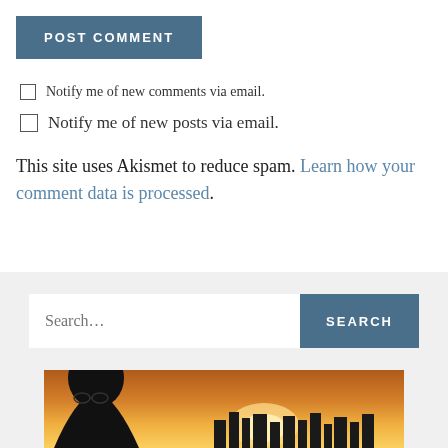POST COMMENT
Notify me of new comments via email.
Notify me of new posts via email.
This site uses Akismet to reduce spam. Learn how your comment data is processed.
[Figure (screenshot): Search bar with text input placeholder 'Search...' and a blue SEARCH button]
[Figure (photo): Photo of a person silhouetted against a warm sunset sky with city skyline in background]